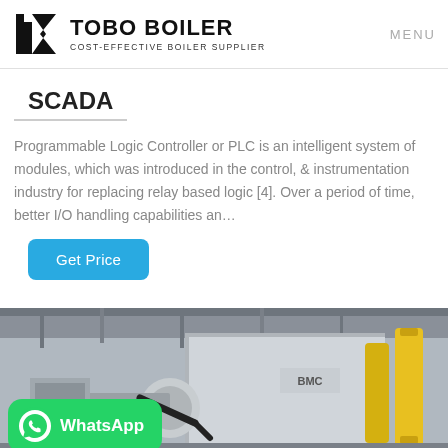TOBO BOILER — COST-EFFECTIVE BOILER SUPPLIER — MENU
SCADA
Programmable Logic Controller or PLC is an intelligent system of modules, which was introduced in the control, & instrumentation industry for replacing relay based logic [4]. Over a period of time, better I/O handling capabilities an...
Get Price
[Figure (photo): Industrial boiler room with large white boiler equipment, yellow cylinders, and piping visible. WhatsApp contact badge overlaid in bottom-left corner.]